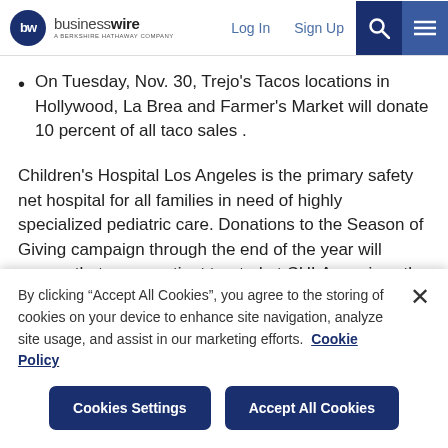businesswire — A BERKSHIRE HATHAWAY COMPANY | Log In | Sign Up
On Tuesday, Nov. 30, Trejo's Tacos locations in Hollywood, La Brea and Farmer's Market will donate 10 percent of all taco sales .
Children's Hospital Los Angeles is the primary safety net hospital for all families in need of highly specialized pediatric care. Donations to the Season of Giving campaign through the end of the year will ensure that every patient treated at CHLA receives the critical, lifesaving care they need. Children's Hospital Los Angeles is one of the top pediatric academic medical and research institutions in the United States, providing the care services of
By clicking “Accept All Cookies”, you agree to the storing of cookies on your device to enhance site navigation, analyze site usage, and assist in our marketing efforts.  Cookie Policy
Cookies Settings    Accept All Cookies